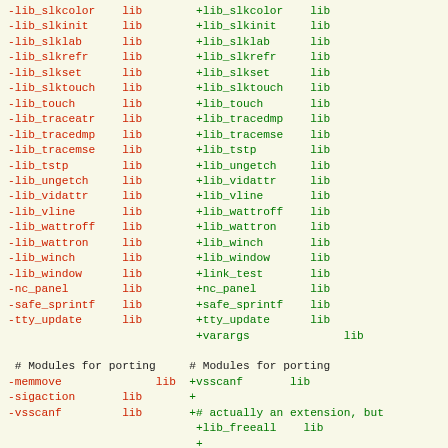Two-column diff listing of library modules and porting modules, showing removed entries (red, prefixed with -) and added entries (green, prefixed with +)